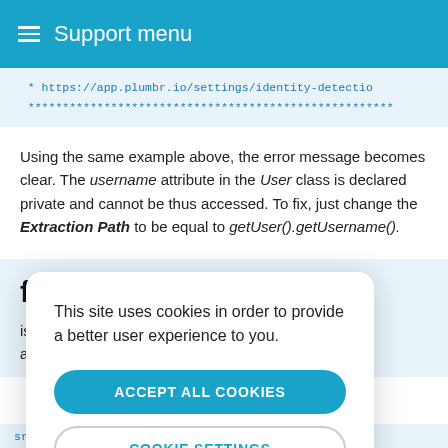≡ Support menu
* https://app.plumbr.io/settings/identity-detectio
***************************************************
Using the same example above, the error message becomes clear. The username attribute in the User class is declared private and cannot be thus accessed. To fix, just change the Extraction Path to be equal to getUser().getUsername().
figuration
is done in the data-plumbr ad the agent:
This site uses cookies in order to provide a better user experience to you.
ACCEPT ALL COOKIES
COOKIE SETTINGS
src="https://browser.plumbr.io/pa.js" crossorigi